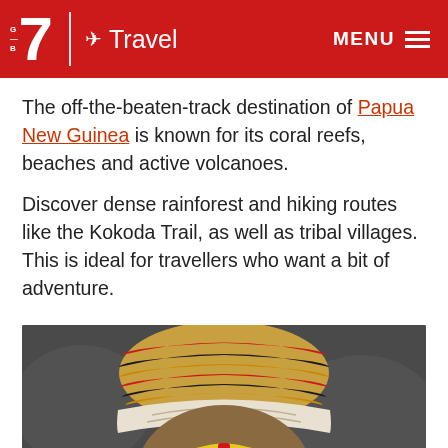7 Travel | MENU
The off-the-beaten-track destination of Papua New Guinea is known for its coral reefs, beaches and active volcanoes.
Discover dense rainforest and hiking routes like the Kokoda Trail, as well as tribal villages. This is ideal for travellers who want a bit of adventure.
[Figure (photo): Close-up portrait of a Papua New Guinea tribal person wearing a colorful knitted headpiece with red, yellow, black and gold stripes, a white beaded headband, and traditional face paint: black lower face, yellow and red geometric markings around eyes and forehead.]